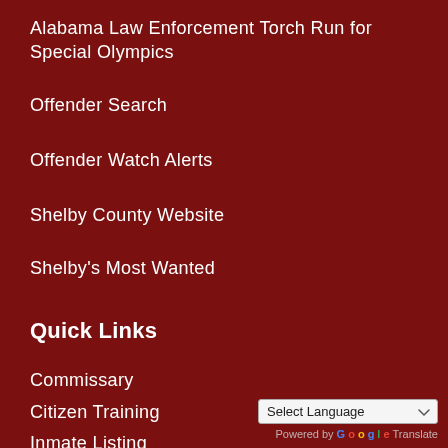Alabama Law Enforcement Torch Run for Special Olympics
Offender Search
Offender Watch Alerts
Shelby County Website
Shelby's Most Wanted
Quick Links
Commissary
Citizen Training
Inmate Listing
Project Lifesaver